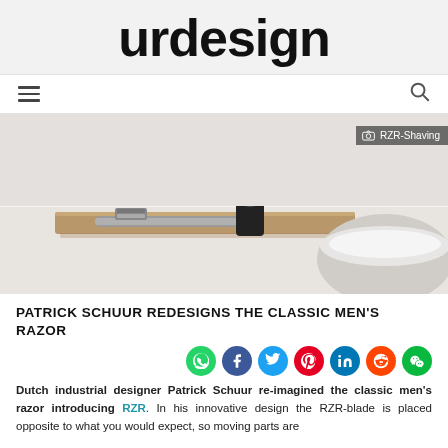urdesign
[Figure (photo): Shaving razor on a wooden tray with a shaving brush and bowl of cream, bathroom setting. Caption badge: RZR-Shaving]
PATRICK SCHUUR REDESIGNS THE CLASSIC MEN'S RAZOR
[Figure (other): Social sharing icons: WhatsApp, Facebook, Twitter, Pinterest, LinkedIn, Reddit, WeChat]
Dutch industrial designer Patrick Schuur re-imagined the classic men's razor introducing RZR. In his innovative design the RZR-blade is placed opposite to what you would expect, so moving parts are